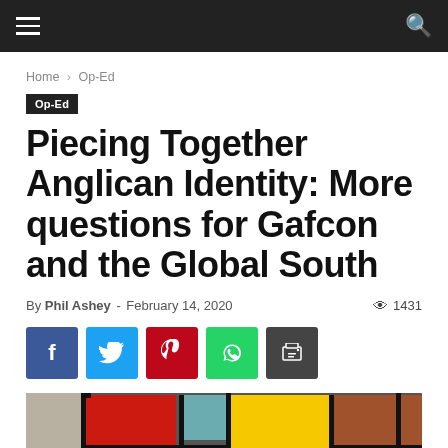Navigation bar with hamburger menu and search icon
Home › Op-Ed
Op-Ed
Piecing Together Anglican Identity: More questions for Gafcon and the Global South
By Phil Ashey - February 14, 2020  👁 1431
[Figure (infographic): Social sharing buttons: Facebook (blue), Twitter (cyan), Pinterest (red), WhatsApp (green), Print (dark grey)]
[Figure (photo): Stained glass window photograph showing red, yellow, orange and teal colored glass panels with black leading]